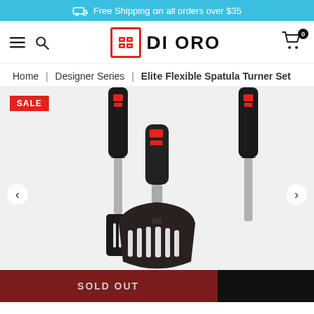Free Shipping on all orders over $35
[Figure (logo): DI ORO logo with red square icon and navigation icons (hamburger menu, search, cart with 0 count)]
Home | Designer Series | Elite Flexible Spatula Turner Set
[Figure (photo): Product photo of Di Oro Elite Flexible Spatula Turner Set showing three spatulas with black silicone heads and stainless steel handles on a light grey background. A SALE badge is shown in the top left. Carousel arrows are visible on the sides.]
SOLD OUT